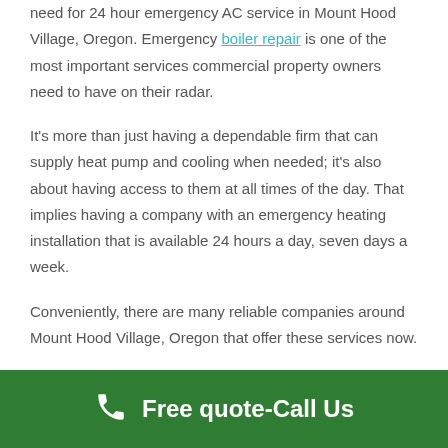need for 24 hour emergency AC service in Mount Hood Village, Oregon. Emergency boiler repair is one of the most important services commercial property owners need to have on their radar.
It's more than just having a dependable firm that can supply heat pump and cooling when needed; it's also about having access to them at all times of the day. That implies having a company with an emergency heating installation that is available 24 hours a day, seven days a week.
Conveniently, there are many reliable companies around Mount Hood Village, Oregon that offer these services now.
We are 24 hour furnace repair company. We provide
Free quote-Call Us